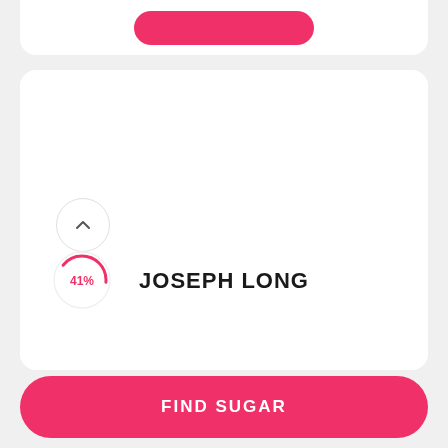[Figure (screenshot): Mobile app UI screenshot showing a card with a white background, a circular progress indicator showing 41% in pink, an upward chevron button, and the name JOSEPH LONG at the bottom of the card.]
41%
JOSEPH LONG
FIND SUGAR